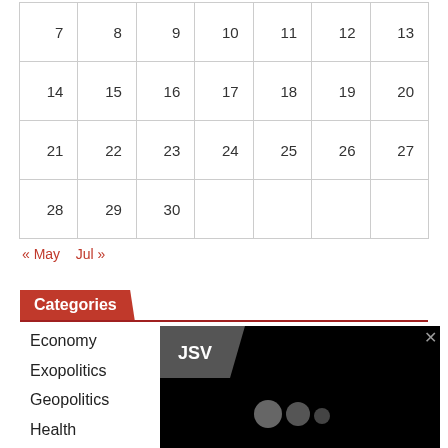| 7 | 8 | 9 | 10 | 11 | 12 | 13 |
| 14 | 15 | 16 | 17 | 18 | 19 | 20 |
| 21 | 22 | 23 | 24 | 25 | 26 | 27 |
| 28 | 29 | 30 |  |  |  |  |
« May   Jul »
Categories
Economy
Exopolitics
Geopolitics
Health
Religion
Science
[Figure (screenshot): Black overlay panel with JSV label and three circles/dots]